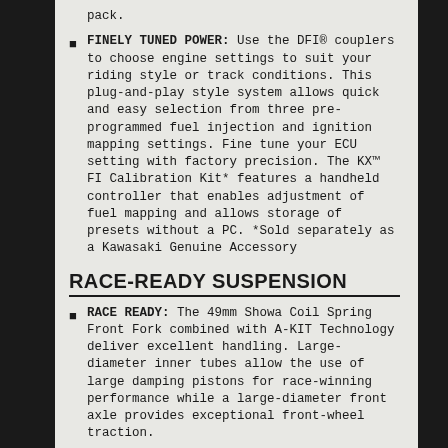pack.
FINELY TUNED POWER: Use the DFI® couplers to choose engine settings to suit your riding style or track conditions. This plug-and-play style system allows quick and easy selection from three pre-programmed fuel injection and ignition mapping settings. Fine tune your ECU setting with factory precision. The KX™ FI Calibration Kit* features a handheld controller that enables adjustment of fuel mapping and allows storage of presets without a PC. *Sold separately as a Kawasaki Genuine Accessory
RACE-READY SUSPENSION
RACE READY: The 49mm Showa Coil Spring Front Fork combined with A-KIT Technology deliver excellent handling. Large-diameter inner tubes allow the use of large damping pistons for race-winning performance while a large-diameter front axle provides exceptional front-wheel traction.